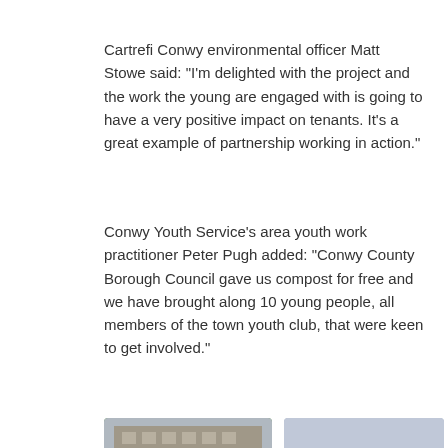Cartrefi Conwy environmental officer Matt Stowe said: “I’m delighted with the project and the work the young are engaged with is going to have a very positive impact on tenants. It’s a great example of partnership working in action.”
Conwy Youth Service’s area youth work practitioner Peter Pugh added: “Conwy County Borough Council gave us compost for free and we have brought along 10 young people, all members of the town youth club, that were keen to get involved.”
[Figure (photo): Group of children and adults in yellow hi-vis vests working outdoors on a gardening project, posing for a photo on a grassy area in front of a brick building.]
[Figure (photo): A smiling man and two girls planting or arranging colourful flowers in black plant pots.]